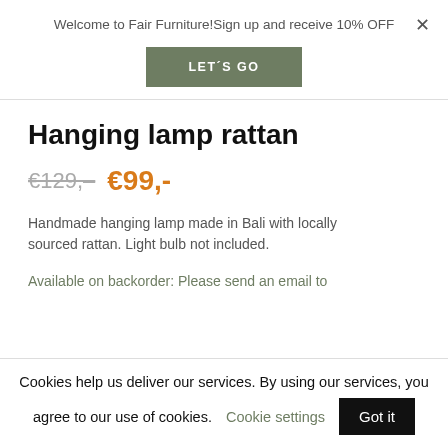Welcome to Fair Furniture!Sign up and receive 10% OFF
LET´S GO
Hanging lamp rattan
€129,–  €99,-
Handmade hanging lamp made in Bali with locally sourced rattan. Light bulb not included.
Available on backorder: Please send an email to
Cookies help us deliver our services. By using our services, you agree to our use of cookies. Cookie settings  Got it